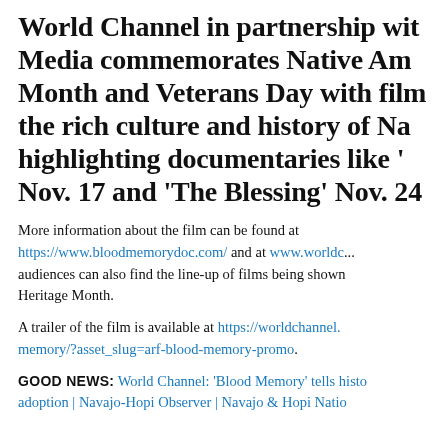World Channel in partnership with Media commemorates Native American Month and Veterans Day with films on the rich culture and history of Native peoples, highlighting documentaries like '...' Nov. 17 and 'The Blessing' Nov. 24
More information about the film can be found at https://www.bloodmemorydoc.com/ and at www.worldchannel.org audiences can also find the line-up of films being shown during Native American Heritage Month.
A trailer of the film is available at https://worldchannel.../memory/?asset_slug=arf-blood-memory-promo.
GOOD NEWS: World Channel: 'Blood Memory' tells history of adoption | Navajo-Hopi Observer | Navajo & Hopi Nation